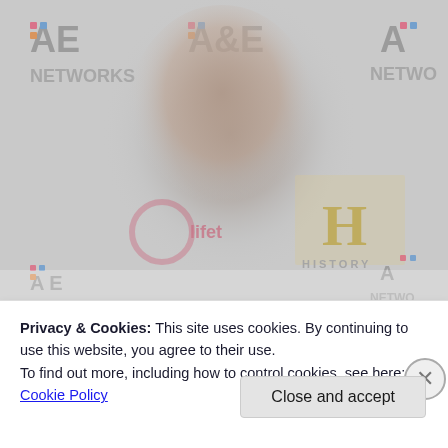[Figure (photo): A man with a dark beard and short hair, smiling, wearing a dark blazer, photographed at an A&E Networks event backdrop featuring A&E Networks, History Channel, and Lifetime logos. The image is partially faded/overlaid with a cookie consent banner.]
Privacy & Cookies: This site uses cookies. By continuing to use this website, you agree to their use.
To find out more, including how to control cookies, see here: Cookie Policy
Close and accept